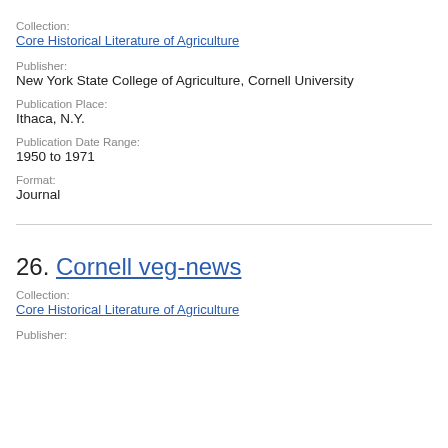Collection:
Core Historical Literature of Agriculture
Publisher:
New York State College of Agriculture, Cornell University
Publication Place:
Ithaca, N.Y.
Publication Date Range:
1950 to 1971
Format:
Journal
26. Cornell veg-news
Collection:
Core Historical Literature of Agriculture
Publisher: